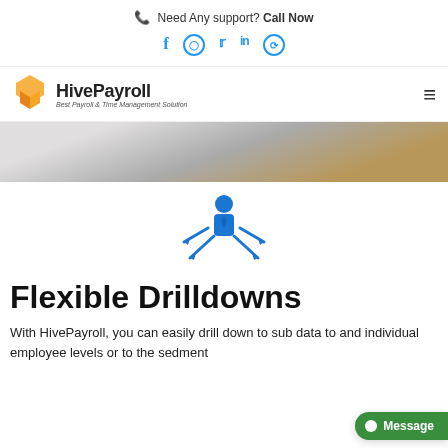Need Any support? Call Now
[Figure (other): Social media icons: Facebook, Instagram, Twitter, LinkedIn, Pinterest]
[Figure (logo): HivePayroll logo with orange chevron icon, text HivePayroll, tagline Best Payroll & Time Management Solution]
[Figure (photo): Hero image showing a notebook and pen on a wooden/paper background]
[Figure (illustration): Blue icon of a person/manager with arrows pointing in four directions representing flexible drilldowns]
Flexible Drilldowns
With HivePayroll, you can easily drill down to sub data to and individual employee levels or to the sedment